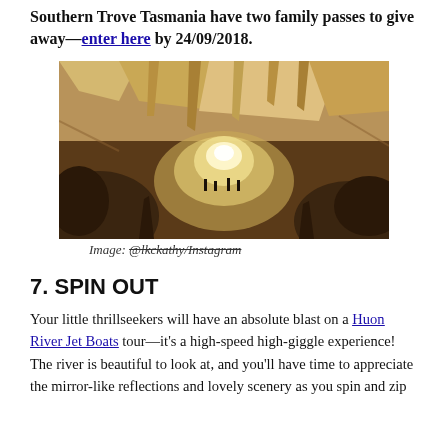Southern Trove Tasmania have two family passes to give away—enter here by 24/09/2018.
[Figure (photo): Interior of a cave showing stalactites and rock formations with dim lighting, visitors visible in background]
Image: @lkckathy/Instagram
7. SPIN OUT
Your little thrillseekers will have an absolute blast on a Huon River Jet Boats tour—it's a high-speed high-giggle experience! The river is beautiful to look at, and you'll have time to appreciate the mirror-like reflections and lovely scenery as you spin and zip...